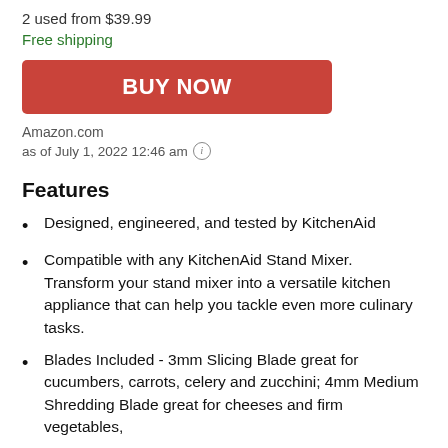2 used from $39.99
Free shipping
[Figure (other): BUY NOW button - red/coral rounded rectangle with white bold text]
Amazon.com
as of July 1, 2022 12:46 am ⓘ
Features
Designed, engineered, and tested by KitchenAid
Compatible with any KitchenAid Stand Mixer. Transform your stand mixer into a versatile kitchen appliance that can help you tackle even more culinary tasks.
Blades Included - 3mm Slicing Blade great for cucumbers, carrots, celery and zucchini; 4mm Medium Shredding Blade great for cheeses and firm vegetables,